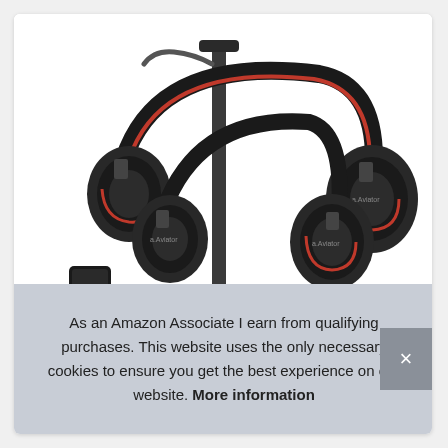[Figure (photo): Two black and red over-ear headphones displayed on a headphone stand against a white background. The headphones have padded ear cups and headbands with red accents, and a small device visible at the bottom left.]
As an Amazon Associate I earn from qualifying purchases. This website uses the only necessary cookies to ensure you get the best experience on our website. More information